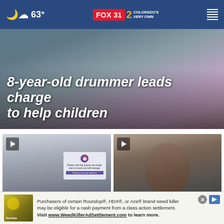63° FOX 31 | 2 COLORADO'S VERY OWN
[Figure (photo): Hero image with overlay showing drums/colorful smoke, headline: '8-year-old drummer leads charge to help children']
8-year-old drummer leads charge to help children
[Figure (photo): Airport crowd scene with display screen, headline: 'Air travel issues could mean new industry regulations']
Air travel issues could mean new industry regulations
[Figure (photo): Portrait of a smiling man in a hat, headline: 'Family pleads for driver']
Family pleads for driver
Purchasers of certain Roundup®, HDX®, or Ace® brand weed killer may be eligible for a cash payment from a class action settlement. Visit www.WeedKillerAdSettlement.com to learn more.